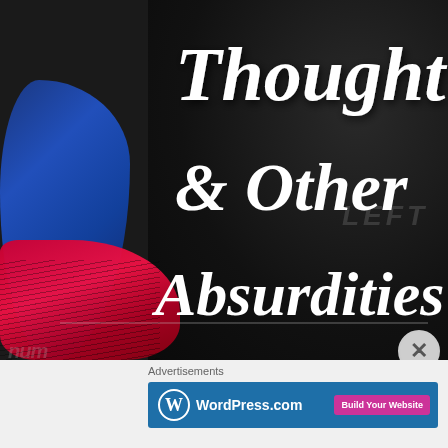[Figure (illustration): Dark textured background with blue feather/butterfly shape on left, red feathered shapes at bottom-left, and bold white italic script text reading 'Thought & Other Absurdities'. Faint background text includes 'LEFT', 'num', 'ry' and other partial words.]
Advertisements
[Figure (logo): WordPress.com banner advertisement with blue background, WordPress circle-W logo, 'WordPress.com' text in white, and a pink 'Build Your Website' button on the right.]